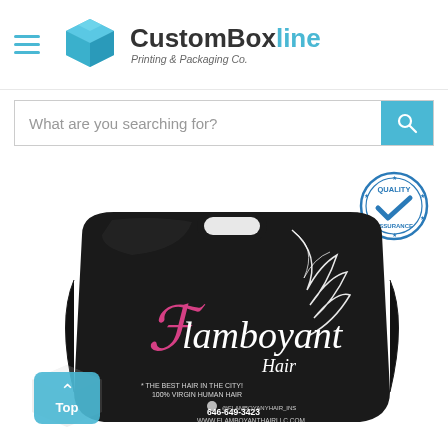[Figure (logo): CustomBoxline logo with blue 3D box icon and text 'CustomBoxline Printing & Packaging Co.']
What are you searching for?
[Figure (illustration): Quality Assurance badge/seal in blue with checkmark]
[Figure (photo): Black custom hair packaging bag with die-cut handle, branded 'Flamboyant Hair' with pink and white logo, contact info 646-649-3423 and www.flamboyantiairllc.com]